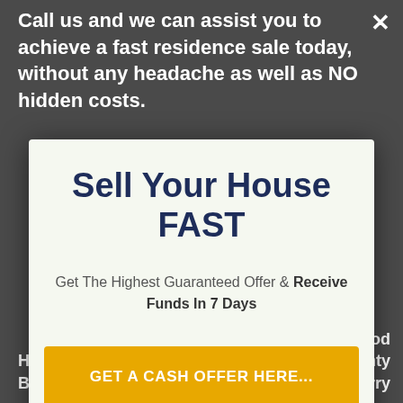Call us and we can assist you to achieve a fast residence sale today, without any headache as well as NO hidden costs.
Sell Your House FAST
Get The Highest Guaranteed Offer & Receive Funds In 7 Days
GET A CASH OFFER HERE...
No thanks, I'm not interested!
House Without A Realtor Brighton And Hove
Quickly For A Good Price In County Londonderry